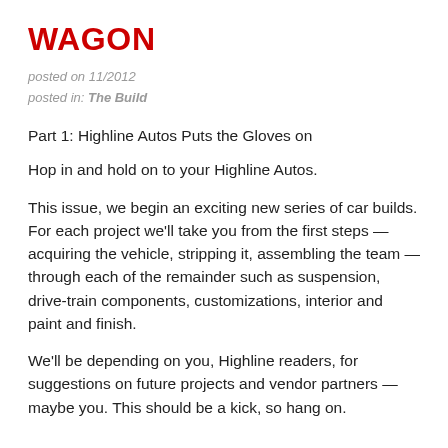WAGON
posted on 11/2012
posted in: The Build
Part 1: Highline Autos Puts the Gloves on
Hop in and hold on to your Highline Autos.
This issue, we begin an exciting new series of car builds. For each project we'll take you from the first steps — acquiring the vehicle, stripping it, assembling the team — through each of the remainder such as suspension, drive-train components, customizations, interior and paint and finish.
We'll be depending on you, Highline readers, for suggestions on future projects and vendor partners — maybe you. This should be a kick, so hang on.